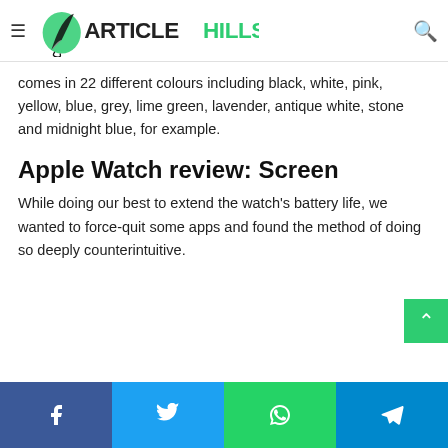ArticleHills — navigation header with logo and search icon
comes in 22 different colours including black, white, pink, yellow, blue, grey, lime green, lavender, antique white, stone and midnight blue, for example.
Apple Watch review: Screen
While doing our best to extend the watch's battery life, we wanted to force-quit some apps and found the method of doing so deeply counterintuitive.
Social share buttons: Facebook, Twitter, WhatsApp, Telegram